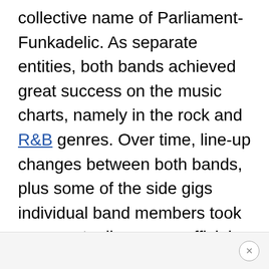collective name of Parliament-Funkadelic. As separate entities, both bands achieved great success on the music charts, namely in the rock and R&B genres. Over time, line-up changes between both bands, plus some of the side gigs individual band members took on, eventually saw an official merging that is more commonly referred to today either as Parliament-Funkadalic or P-Funk.
×